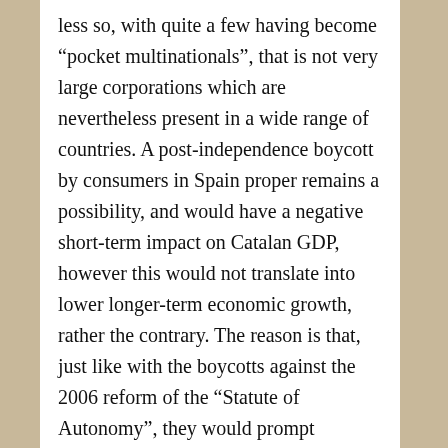less so, with quite a few having become “pocket multinationals”, that is not very large corporations which are nevertheless present in a wide range of countries. A post-independence boycott by consumers in Spain proper remains a possibility, and would have a negative short-term impact on Catalan GDP, however this would not translate into lower longer-term economic growth, rather the contrary. The reason is that, just like with the boycotts against the 2006 reform of the “Statute of Autonomy”, they would prompt businesses to expand in other countries, thus gaining size and competitiveness. Furthermore, in an independent Catalonia this trend would also involve those industries currently regulated by Madrid, such as infrastructure management and banking, which to date have internationalized to a very small degree. We should